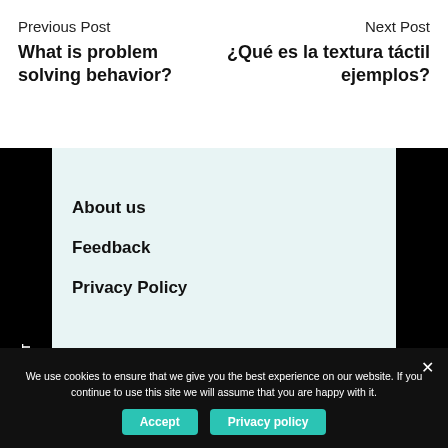Previous Post
What is problem solving behavior?
Next Post
¿Qué es la textura táctil ejemplos?
PREVIOUS POST
NEXT POST
About us
Feedback
Privacy Policy
We use cookies to ensure that we give you the best experience on our website. If you continue to use this site we will assume that you are happy with it.
Accept
Privacy policy